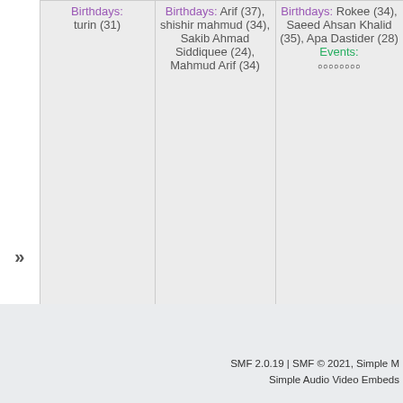| nav | 28 - Week 35 / Birthdays | 29 Birthdays | 30 |
| --- | --- | --- | --- |
| » | Birthdays: turin (31) | Birthdays: Arif (37), shishir mahmud (34), Sakib Ahmad Siddiquee (24), Mahmud Arif (34) | Birthdays: Rokee (34), Saeed Ahsan Khalid (35), Apa Dastider (28) Events: ০০০০০০০০ |
| » | 28 - Week 35 Birthdays: emranhossain (44), Sanat kumar bhowmik | Birthdays: mamun (42), tamzid_120, ferdous2071 (30), mahakash713 (29) | 30 |
August
SMF 2.0.19 | SMF © 2021, Simple M
Simple Audio Video Embeds